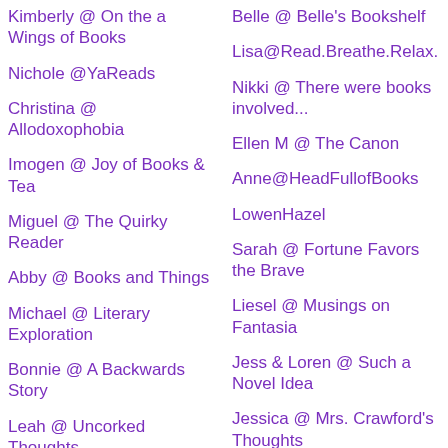Kimberly @ On the a Wings of Books
Nichole @YaReads
Christina @ Allodoxophobia
Imogen @ Joy of Books & Tea
Miguel @ The Quirky Reader
Abby @ Books and Things
Michael @ Literary Exploration
Bonnie @ A Backwards Story
Leah @ Uncorked Thoughts
Jaime & Erin @ Fic Fare
Gretchen @ The
Belle @ Belle's Bookshelf
Lisa@Read.Breathe.Relax.
Nikki @ There were books involved...
Ellen M @ The Canon
Anne@HeadFullofBooks
LowenHazel
Sarah @ Fortune Favors the Brave
Liesel @ Musings on Fantasia
Jess & Loren @ Such a Novel Idea
Jessica @ Mrs. Crawford's Thoughts
Mighto @The Bookish Bookkeeper